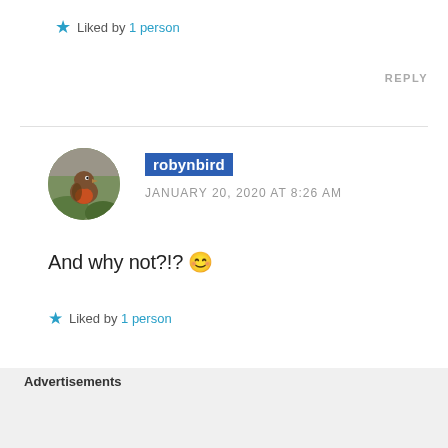★ Liked by 1 person
REPLY
robynbird
JANUARY 20, 2020 AT 8:26 AM
And why not?!? 😊
★ Liked by 1 person
Advertisements
[Figure (screenshot): DuckDuckGo advertisement banner: orange left panel with text 'Search, browse, and email with more privacy. All in One Free App' and dark right panel with DuckDuckGo logo and name]